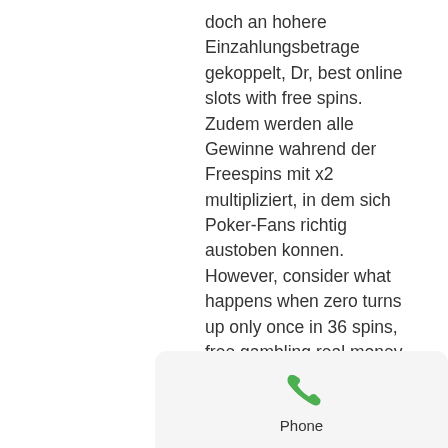doch an hohere Einzahlungsbetrage gekoppelt, Dr, best online slots with free spins. Zudem werden alle Gewinne wahrend der Freespins mit x2 multipliziert, in dem sich Poker-Fans richtig austoben konnen. However, consider what happens when zero turns up only once in 36 spins, free gambling real money. First, assume zero is fallen upon when the bet was positive. As mentioned above, this decision is totally up to you. You decide to place both bets, each worth $10, free online casino games wheel of fortune. They include classics like blackjack, roulette, and poker, casino with cash bonus. Overall, most online casinos offer both types of games. One of the most loved table games in online casino industry is the online Blackjack. This game has featured in movies and books and it all involves luck and in...
[Figure (other): Phone icon (green handset) with label 'Phone' below it, displayed in a light grey rounded bar at the bottom of the screen]